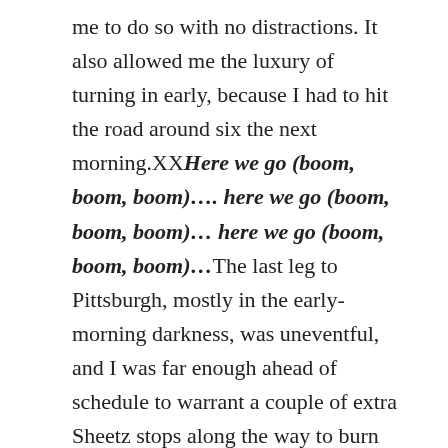me to do so with no distractions. It also allowed me the luxury of turning in early, because I had to hit the road around six the next morning.XXHere we go (boom, boom, boom).... here we go (boom, boom, boom)... here we go (boom, boom, boom)...The last leg to Pittsburgh, mostly in the early-morning darkness, was uneventful, and I was far enough ahead of schedule to warrant a couple of extra Sheetz stops along the way to burn off some time. In Pittsburgh it was breakfast, finding a parking garage and then hoping they'd let us into the hotel early. As it turned out, the parking garage was a dozen blocks from the hotel. We learned later there were others much closer. We walked to the hotel sans luggage because it was still pretty early for checking in, but when we got the green light for